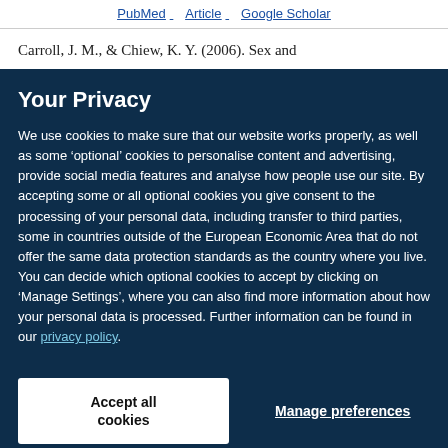PubMed   Article   Google Scholar
Carroll, J. M., & Chiew, K. Y. (2006). Sex and
Your Privacy
We use cookies to make sure that our website works properly, as well as some ‘optional’ cookies to personalise content and advertising, provide social media features and analyse how people use our site. By accepting some or all optional cookies you give consent to the processing of your personal data, including transfer to third parties, some in countries outside of the European Economic Area that do not offer the same data protection standards as the country where you live. You can decide which optional cookies to accept by clicking on ‘Manage Settings’, where you can also find more information about how your personal data is processed. Further information can be found in our privacy policy.
Accept all cookies
Manage preferences